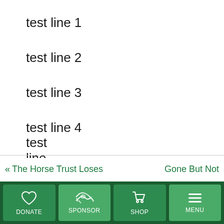test line 1
test line 2
test line 3
test line 4
test line 5
« The Horse Trust Loses   Gone But Not  DONATE  SPONSOR  SHOP  MENU